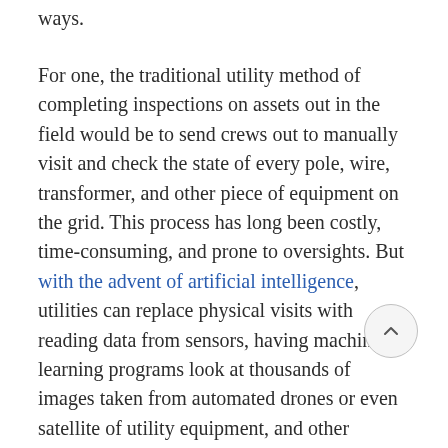ways.
For one, the traditional utility method of completing inspections on assets out in the field would be to send crews out to manually visit and check the state of every pole, wire, transformer, and other piece of equipment on the grid. This process has long been costly, time-consuming, and prone to oversights. But with the advent of artificial intelligence, utilities can replace physical visits with reading data from sensors, having machine learning programs look at thousands of images taken from automated drones or even satellite of utility equipment, and other